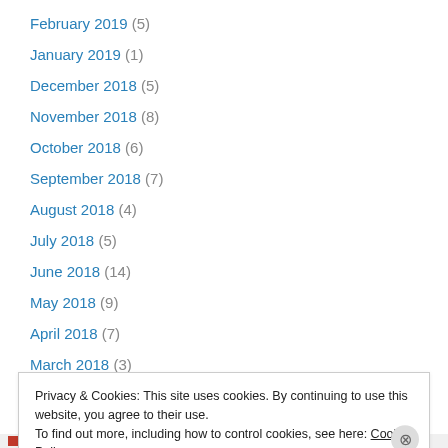February 2019 (5)
January 2019 (1)
December 2018 (5)
November 2018 (8)
October 2018 (6)
September 2018 (7)
August 2018 (4)
July 2018 (5)
June 2018 (14)
May 2018 (9)
April 2018 (7)
March 2018 (3)
February 2018 (2)
Privacy & Cookies: This site uses cookies. By continuing to use this website, you agree to their use. To find out more, including how to control cookies, see here: Cookie Policy
Close and accept